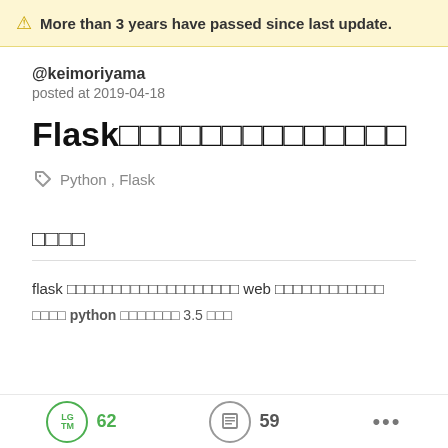⚠ More than 3 years have passed since last update.
@keimoriyama
posted at 2019-04-18
Flaskで作る簡単webアプリケーション
Python , Flask
はじめに
flask を使って簡単な web アプリケーションを作ります
まず python をインストール 3.5 以上